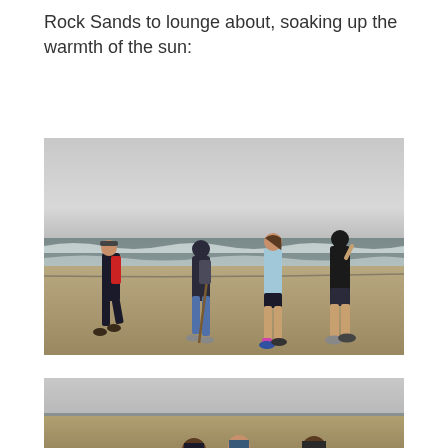Rock Sands to lounge about, soaking up the warmth of the sun:
[Figure (photo): Four people walking on a grey sandy beach on an overcast day. From left: an older man in a black jacket and red backpack, a person in a hooded jacket using a walking stick wearing blue jeans, a girl in a light blue hoodie, and a boy in a dark hoodie and shorts. Waves visible in the background.]
[Figure (photo): Partial view of people on a beach, cropped at the bottom of the page. Overcast sky visible, with figures partially visible at the bottom.]